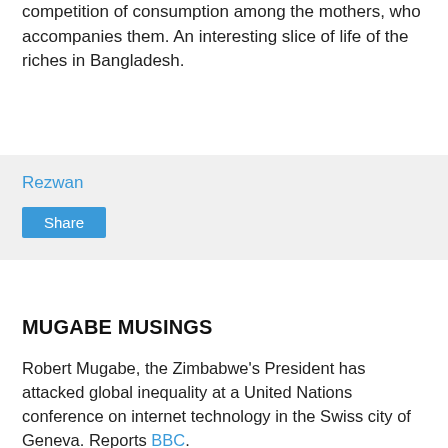competition of consumption among the mothers, who accompanies them. An interesting slice of life of the riches in Bangladesh.
Rezwan
Share
MUGABE MUSINGS
Robert Mugabe, the Zimbabwe's President has attacked global inequality at a United Nations conference on internet technology in the Swiss city of Geneva. Reports BBC.
However he said one good thing:
There is no point in providing poor people with computers unless they were also given electricity and a phone network to run them.